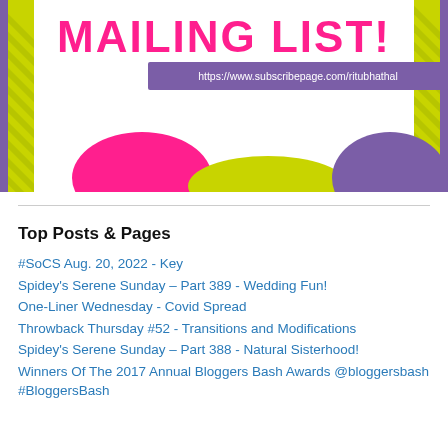[Figure (infographic): Colorful mailing list promotional banner with pink text 'MAILING LIST!' on white background, lime green and purple decorative diagonal stripe borders on sides, pink and purple blob shapes at bottom, and a purple URL bar.]
https://www.subscribepage.com/ritubhathal
Top Posts & Pages
#SoCS Aug. 20, 2022 - Key
Spidey's Serene Sunday – Part 389 - Wedding Fun!
One-Liner Wednesday - Covid Spread
Throwback Thursday #52 - Transitions and Modifications
Spidey's Serene Sunday – Part 388 - Natural Sisterhood!
Winners Of The 2017 Annual Bloggers Bash Awards @bloggersbash #BloggersBash